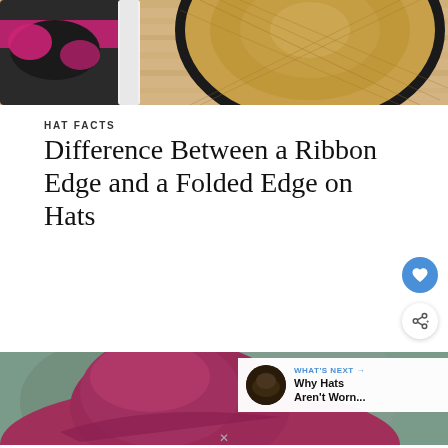[Figure (photo): Top-down view of a straw hat with black brim and black-and-pink fabric accessories on a wooden surface]
HAT FACTS
Difference Between a Ribbon Edge and a Folded Edge on Hats
[Figure (photo): Side profile of a person wearing a magenta/purple wool cloche hat outdoors against a blurred background, with a 'What's Next: Why Hats Aren't Worn...' overlay in the corner]